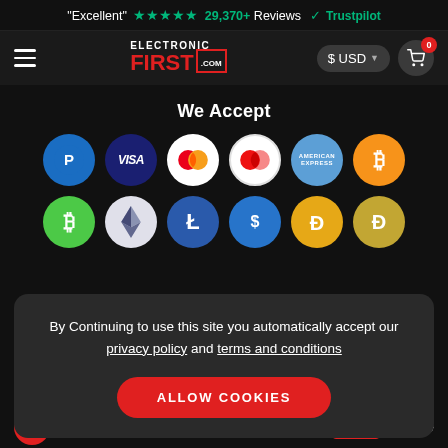"Excellent" ★★★★★ 29,370+ Reviews ✪ Trustpilot
[Figure (logo): ElectronicFirst.com logo with hamburger menu, USD currency selector, and cart icon with 0 badge]
We Accept
[Figure (infographic): Payment method icons in two rows: PayPal, Visa, Mastercard, Mastercard, American Express, Bitcoin (top row); Bitcoin Cash, Ethereum, Litecoin, USD Coin, Dash, Dogecoin (bottom row)]
By Continuing to use this site you automatically accept our privacy policy and terms and conditions
ALLOW COOKIES